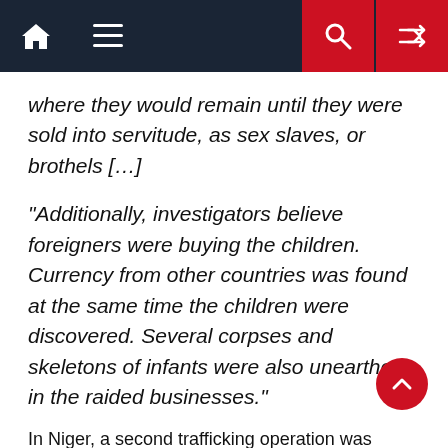Navigation bar with home, menu, search, and shuffle icons
where they would remain until they were sold into servitude, as sex slaves, or brothels […]
“Additionally, investigators believe foreigners were buying the children. Currency from other countries was found at the same time the children were discovered. Several corpses and skeletons of infants were also unearthed in the raided businesses.”
In Niger, a second trafficking operation was found to